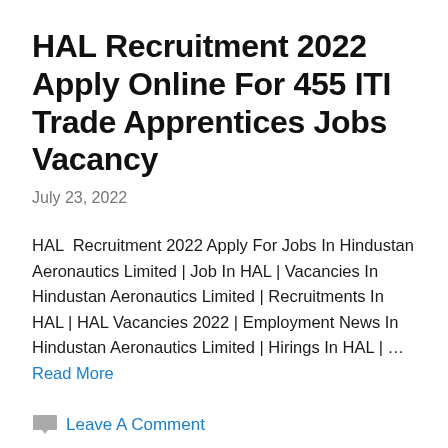HAL Recruitment 2022 Apply Online For 455 ITI Trade Apprentices Jobs Vacancy
July 23, 2022
HAL  Recruitment 2022 Apply For Jobs In Hindustan Aeronautics Limited | Job In HAL | Vacancies In Hindustan Aeronautics Limited | Recruitments In HAL | HAL Vacancies 2022 | Employment News In Hindustan Aeronautics Limited | Hirings In HAL | … Read More
Leave A Comment